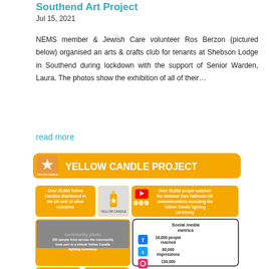Southend Art Project
Jul 15, 2021
NEMS member & Jewish Care volunteer Ros Berzon (pictured below) organised an arts & crafts club for tenants at Shebson Lodge in Southend during lockdown with the support of Senior Warden, Laura. The photos show the exhibition of all of their...
read more
[Figure (infographic): Yellow Candle Project 2021 infographic showing statistics: Over 25,000 Yellow Candles distributed in the UK and 10 other countries; Over 30,000 people watched the National Yom HaShoah UK commemoration including the Yellow Candle lighting ceremony; 250 people from across the community took part in a virtual Yellow Candle lighting ceremony; Social media metrics: 18,000 people reached (Facebook), 80,000 impressions (Twitter), 130,000 (Instagram)]